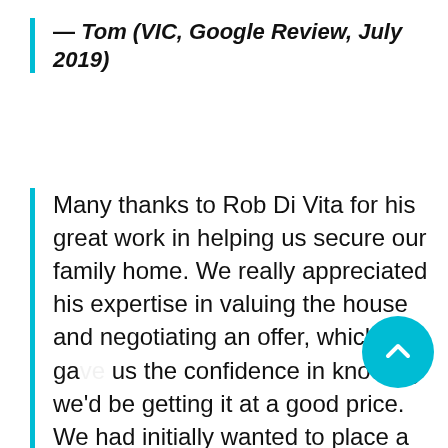— Tom (VIC, Google Review, July 2019)
Many thanks to Rob Di Vita for his great work in helping us secure our family home. We really appreciated his expertise in valuing the house and negotiating an offer, which gave us the confidence in knowing we'd be getting it at a good price. We had initially wanted to place a higher offer, but Rob convinced us that we needn't to so thank you Rob for saving us a